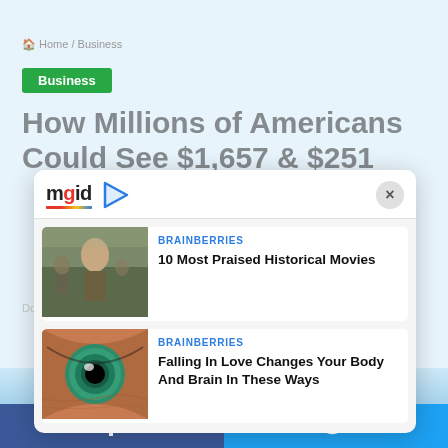Home / Business
Business
How Millions of Americans Could See $1,657 & $251
[Figure (screenshot): MGID content recommendation widget overlay with close button (×), showing logo 'mgid' with play icon]
BRAINBERRIES
10 Most Praised Historical Movies
[Figure (photo): Young man in military uniform looking upward, war movie scene]
BRAINBERRIES
Falling In Love Changes Your Body And Brain In These Ways
[Figure (photo): Close-up of a human eye with teal/green iris]
DouynCole   January 10, 2022   🔥 10
[Figure (infographic): Facebook share button (blue bar at bottom left)]
[Figure (infographic): Twitter share button (blue bar at bottom right)]